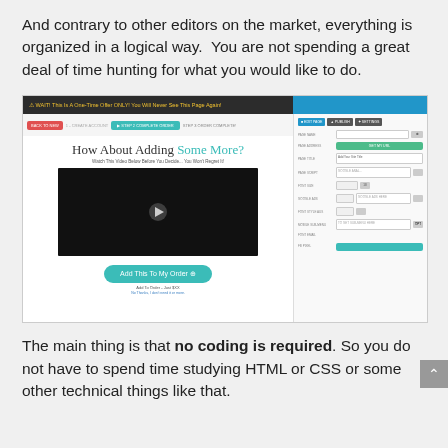And contrary to other editors on the market, everything is organized in a logical way. You are not spending a great deal of time hunting for what you would like to do.
[Figure (screenshot): Screenshot of a webpage showing a sales funnel upsell page with 'How About Adding Some More?' headline, a video player with play button, 'Add This To My Order' teal button, and a right-side panel with form fields.]
The main thing is that no coding is required. So you do not have to spend time studying HTML or CSS or some other technical things like that.